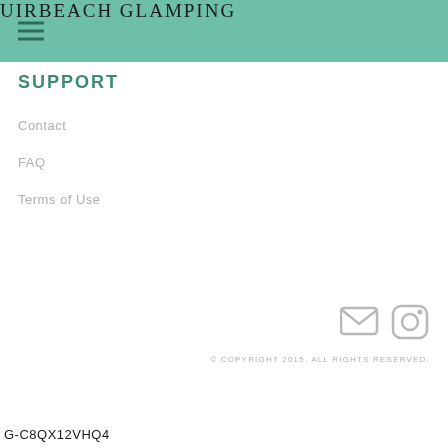UIRBEACH GLAMPING
SUPPORT
Contact
FAQ
Terms of Use
[Figure (illustration): Email icon (envelope) and Instagram camera icon in light gray]
© COPYRIGHT 2015. ALL RIGHTS RESERVED.
G-C8QX12VHQ4